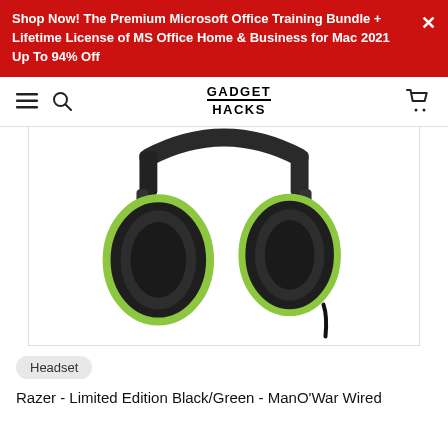Shop Now! The Premium Microsoft Office Training Bundle + Lifetime License of MS Office Home & Business for Mac 2021 Up To 94% Off
GADGET HACKS
[Figure (photo): Razer gaming headset in black with green accent rings on the ear cups, viewed from slightly above, showing both ear cups and headband, with a cable visible at the bottom right.]
Headset
Razer - Limited Edition Black/Green - ManO'War Wired